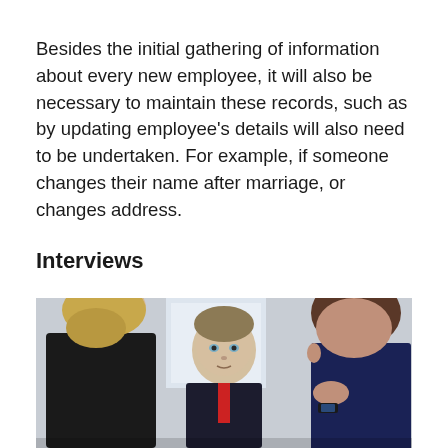Besides the initial gathering of information about every new employee, it will also be necessary to maintain these records, such as by updating employee's details will also need to be undertaken. For example, if someone changes their name after marriage, or changes address.
Interviews
[Figure (photo): A photo of three women in a professional setting appearing to conduct or participate in a job interview. One woman with short blonde hair is facing the camera in the center, flanked by two others with their backs partially turned.]